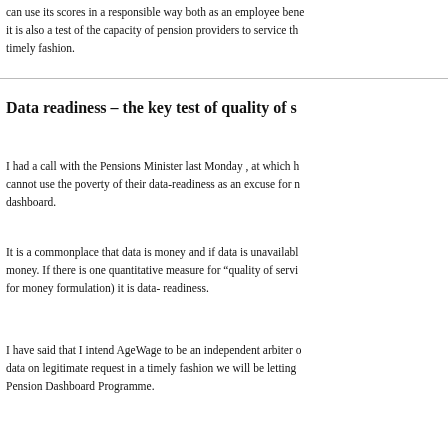can use its scores in a responsible way both as an employee benefit; it is also a test of the capacity of pension providers to service the timely fashion.
Data readiness – the key test of quality of s
I had a call with the Pensions Minister last Monday , at which he cannot use the poverty of their data-readiness as an excuse for not dashboard.
It is a commonplace that data is money and if data is unavailable money. If there is one quantitative measure for "quality of service" for money formulation) it is data- readiness.
I have said that I intend AgeWage to be an independent arbiter of data on legitimate request in a timely fashion we will be letting Pension Dashboard Programme.